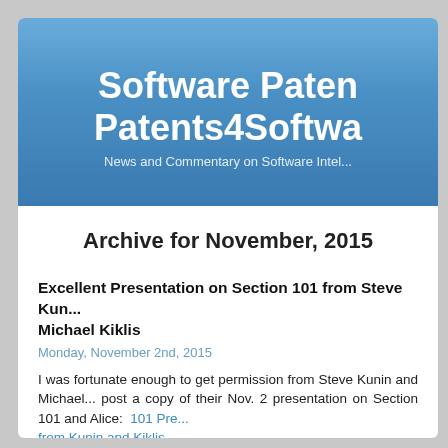Software Patents | Patents4Software
News and Commentary on Software Intel...
Archive for November, 2015
Excellent Presentation on Section 101 from Steve Kunin and Michael Kiklis
Monday, November 2nd, 2015
I was fortunate enough to get permission from Steve Kunin and Michael... post a copy of their Nov. 2 presentation on Section 101 and Alice:  101 Pres... from Kunin and Kiklis